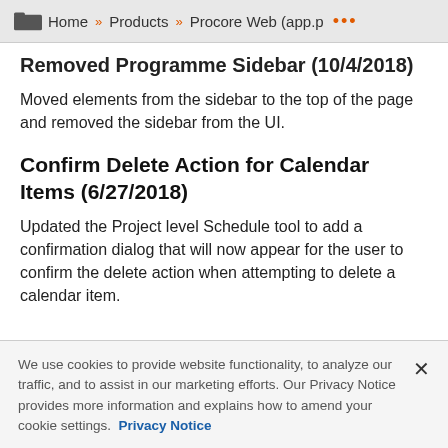Home » Products » Procore Web (app.p …
Removed Programme Sidebar (10/4/2018)
Moved elements from the sidebar to the top of the page and removed the sidebar from the UI.
Confirm Delete Action for Calendar Items (6/27/2018)
Updated the Project level Schedule tool to add a confirmation dialog that will now appear for the user to confirm the delete action when attempting to delete a calendar item.
We use cookies to provide website functionality, to analyze our traffic, and to assist in our marketing efforts. Our Privacy Notice provides more information and explains how to amend your cookie settings. Privacy Notice